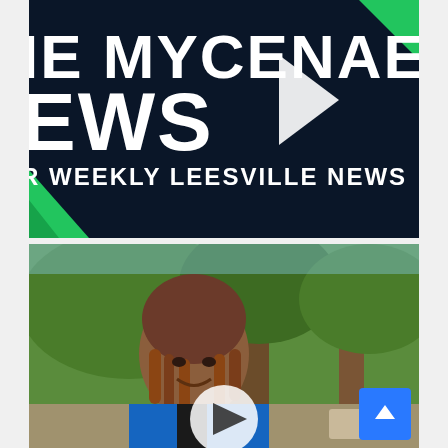[Figure (screenshot): Dark navy blue background with white bold text partially visible: 'IE MYCENAEA' on top line, 'EWS' on second line, a white play button triangle in the center, and 'R WEEKLY LEESVILLE NEWS' below. Green diagonal stripes in corners. Video thumbnail style.]
[Figure (photo): Outdoor photo of a smiling young Black woman with locs, wearing a blue and black jacket, standing in front of trees on a sunny day. A white play button overlay is in the lower center of the image, suggesting a video thumbnail.]